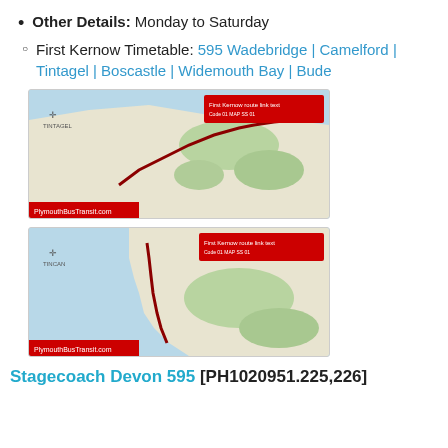Other Details: Monday to Saturday
First Kernow Timetable: 595 Wadebridge | Camelford | Tintagel | Boscastle | Widemouth Bay | Bude
[Figure (map): Map showing bus route 595 through north Cornwall coast area, with red route line and red banner top right, PlymouthBusTransit.com label bottom left]
[Figure (map): Second map showing bus route 595 along south-west Cornwall coastal area, with red route line and red banner top right, PlymouthBusTransit.com label bottom left]
Stagecoach Devon 595 [PH1020951.225,226]